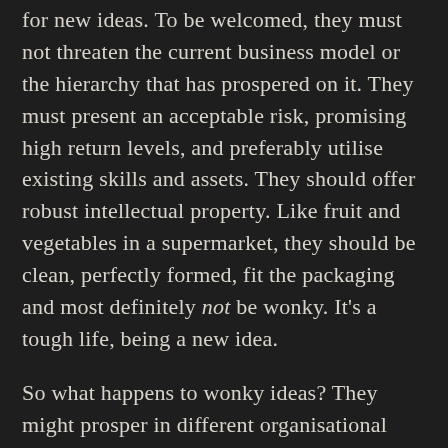for new ideas. To be welcomed, they must not threaten the current business model or the hierarchy that has prospered on it. They must present an acceptable risk, promising high return levels, and preferably utilise existing skills and assets. They should offer robust intellectual property. Like fruit and vegetables in a supermarket, they should be clean, perfectly formed, fit the packaging and most definitely not be wonky. It's a tough life, being a new idea.
So what happens to wonky ideas? They might prosper in different organisational soil,